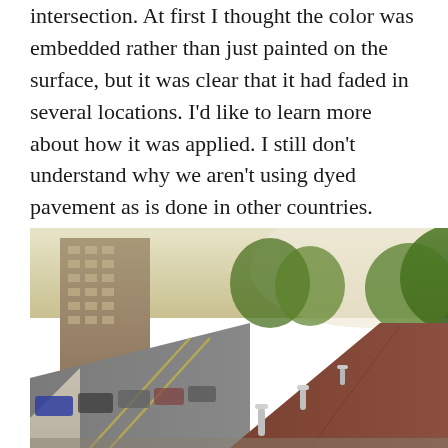intersection. At first I thought the color was embedded rather than just painted on the surface, but it was clear that it had faded in several locations. I'd like to learn more about how it was applied. I still don't understand why we aren't using dyed pavement as is done in other countries.
[Figure (photo): A colored bike path/lane running alongside a city street with trees, parked cars, bollards, tall apartment buildings, and planted green vegetation median. The bike path surface appears reddish-brown.]